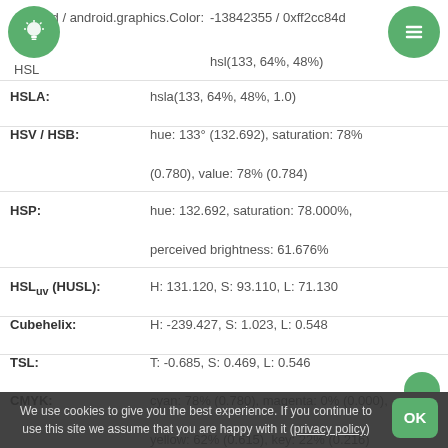Android / android.graphics.Color: -13842355 / 0xff2cc84d
HSL: hsl(133, 64%, 48%)
HSLA: hsla(133, 64%, 48%, 1.0)
HSV / HSB: hue: 133° (132.692), saturation: 78% (0.780), value: 78% (0.784)
HSP: hue: 132.692, saturation: 78.000%, perceived brightness: 61.676%
HSLuv (HUSL): H: 131.120, S: 93.110, L: 71.130
Cubehelix: H: -239.427, S: 1.023, L: 0.548
TSL: T: -0.685, S: 0.469, L: 0.546
CMYK: cyan: 78% (0.780), magenta: 0% (0.000), yellow: 62% (0.615), key: 22% (0.216)
We use cookies to give you the best experience. If you continue to use this site we assume that you are happy with it (privacy policy)